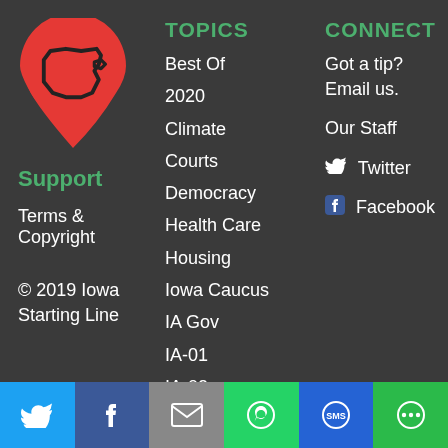[Figure (logo): Iowa Starting Line logo — red map pin with Iowa state outline]
Support
Terms & Copyright
© 2019 Iowa Starting Line
TOPICS
Best Of
2020
Climate
Courts
Democracy
Health Care
Housing
Iowa Caucus
IA Gov
IA-01
IA-02
IA-03
IA-04
CONNECT
Got a tip?   Email us.
Our Staff
Twitter
Facebook
[Figure (infographic): Social sharing bar with Twitter, Facebook, Email, WhatsApp, SMS, and More buttons]